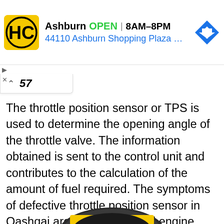[Figure (screenshot): Advertisement banner for Hired Cars (HC) showing Ashburn location, OPEN status, hours 8AM-8PM, address 44110 Ashburn Shopping Plaza 190 A..., with navigation arrow icon]
57
The throttle position sensor or TPS is used to determine the opening angle of the throttle valve. The information obtained is sent to the control unit and contributes to the calculation of the amount of fuel required. The symptoms of defective throttle position sensor in Qashqai are usually reduced engine performance, engine jerks, RPM fluctuations when idling and a slow drop in speed after the driver has released the accelerator.
[Figure (illustration): Partial image of a throttle position sensor at the bottom of the page]